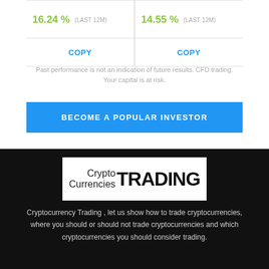16.24 % (LAST 12M)
14.55 % (LAST 12M)
COPY
COPY
Past performance is not an indication of future results. CFD trading. Your capital is at risk.
BECOME A POPULAR INVESTOR
[Figure (logo): CryptoCurrencies TRADING logo in a white box on a black background]
Cryptocurrency Trading , let us show how to trade cryptocurrencies, where you should or should not trade cryptocurrencies and which cryptocurrencies you should consider trading.